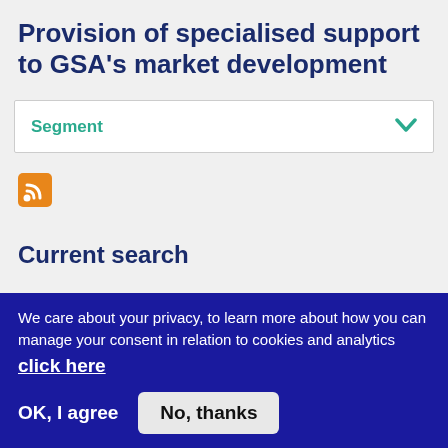Provision of specialised support to GSA's market development
Segment
[Figure (other): RSS feed icon (orange square with white RSS symbol)]
Current search
Search found 4 items
We care about your privacy, to learn more about how you can manage your consent in relation to cookies and analytics click here
OK, I agree
No, thanks